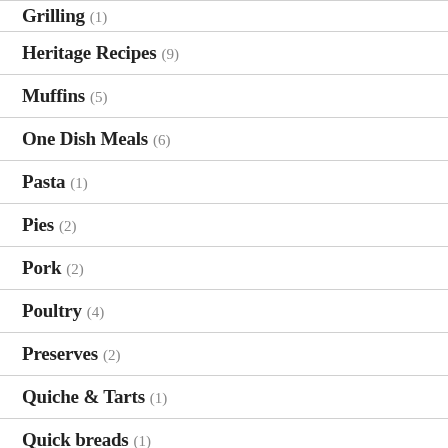Grilling (1)
Heritage Recipes (9)
Muffins (5)
One Dish Meals (6)
Pasta (1)
Pies (2)
Pork (2)
Poultry (4)
Preserves (2)
Quiche & Tarts (1)
Quick breads (1)
Rice (1)